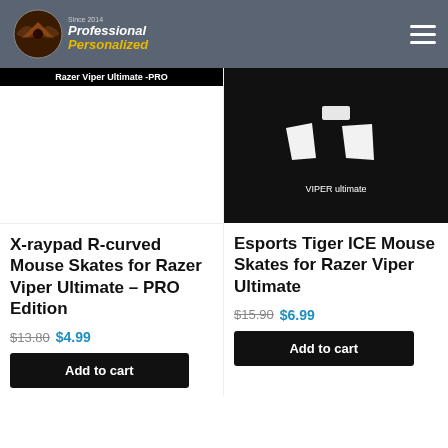Professional Personalized — Since 2014
[Figure (photo): Left product image: white mouse skates/pads scattered on white background, with a black label bar at top reading 'Razer Viper Ultimate -PRO']
[Figure (photo): Right product image: two triangular white mouse skates on black background with text 'VIPER ultimate']
X-raypad R-curved Mouse Skates for Razer Viper Ultimate – PRO Edition
$13.80 $4.99
Add to cart
Esports Tiger ICE Mouse Skates for Razer Viper Ultimate
$15.90 $6.99
Add to cart